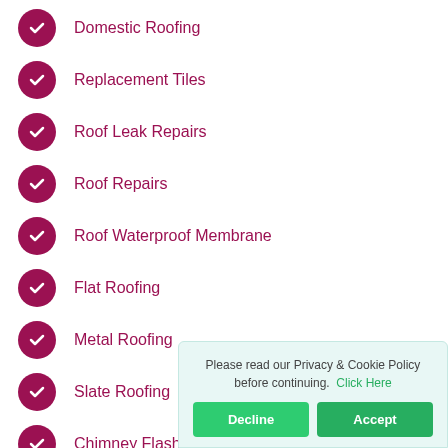Domestic Roofing
Replacement Tiles
Roof Leak Repairs
Roof Repairs
Roof Waterproof Membrane
Flat Roofing
Metal Roofing
Slate Roofing
Chimney Flashing
Epdm Roofing
Guttering
Please read our Privacy & Cookie Policy before continuing. Click Here
Decline | Accept